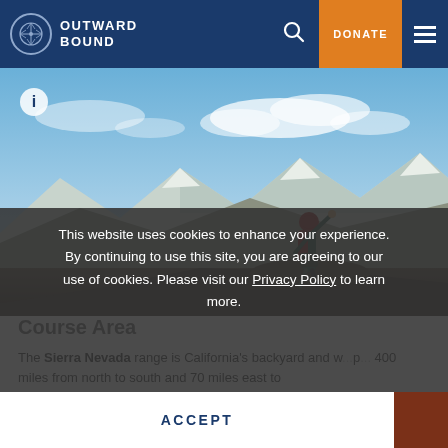OUTWARD BOUND
[Figure (photo): A hiker with a red helmet and backpack stands on a rocky summit with arms raised, overlooking a mountain range under a blue sky with white clouds.]
Course Area
The Sierra Nevada range is California's backyard and w... p... 400 miles from north to south and 70 miles east to...
This website uses cookies to enhance your experience. By continuing to use this site, you are agreeing to our use of cookies. Please visit our Privacy Policy to learn more.
ACCEPT